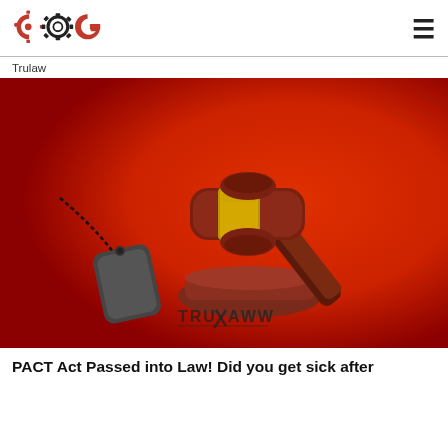COG logo and hamburger menu
Trulaw
[Figure (photo): A judge's wooden gavel on a sound block with a military dog tag and chain on a red background. The TruLaw watermark logo appears at the bottom center of the image.]
PACT Act Passed into Law! Did you get sick after